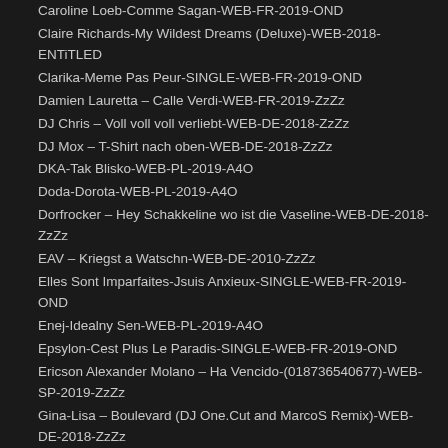Caroline Loeb-Comme Sagan-WEB-FR-2019-OND
Claire Richards-My Wildest Dreams (Deluxe)-WEB-2018-ENTiTLED
Clarika-Meme Pas Peur-SINGLE-WEB-FR-2019-OND
Damien Lauretta – Calle Verdi-WEB-FR-2019-ZzZz
DJ Chris – Voll voll voll verliebt-WEB-DE-2018-ZzZz
DJ Mox – T-Shirt nach oben-WEB-DE-2018-ZzZz
DKA-Tak Blisko-WEB-PL-2019-A4O
Doda-Dorota-WEB-PL-2019-A4O
Dorfrocker – Hey Schakkeline wo ist die Vaseline-WEB-DE-2018-ZzZz
EAV – Kriegst a Watschn-WEB-DE-2010-ZzZz
Elles Sont Imparfaites-Jsuis Anxieux-SINGLE-WEB-FR-2019-OND
Enej-Idealny Sen-WEB-PL-2019-A4O
Epsylon-Cest Plus Le Paradis-SINGLE-WEB-FR-2019-OND
Ericson Alexander Molano – Ha Vencido-(018736540677)-WEB-SP-2019-ZzZz
Gina-Lisa – Boulevard (DJ One.Cut and MarcoS Remix)-WEB-DE-2018-ZzZz
G-LOC-Get Money (Feat. Prezi And Smiggz)-(Single)-WEB-2019-ESG
Gorakin-Ramdam-(4061798193585)-WEB-2019-NDE
Honk – Joana-WEB-DE-2018-ZzZz iNT
Isak Danielson-Yours-WEB-2018-ENTiTLED
Josimelonie – Zeig mir deine Melonen-WEB-DE-2019-ZzZz